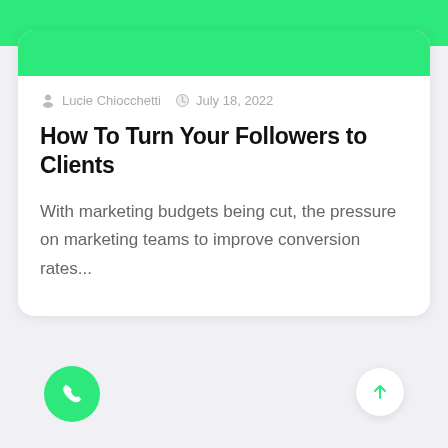[Figure (illustration): Green banner at top of page, partial image of illustrated content visible]
Lucie Chiocchetti  July 18, 2022
How To Turn Your Followers to Clients
With marketing budgets being cut, the pressure on marketing teams to improve conversion rates...
[Figure (illustration): Green phone FAB button at bottom left]
[Figure (illustration): White circle with upward arrow at bottom right]